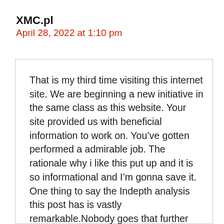XMC.pl
April 28, 2022 at 1:10 pm
That is my third time visiting this internet site. We are beginning a new initiative in the same class as this website. Your site provided us with beneficial information to work on. You’ve gotten performed a admirable job. The rationale why i like this put up and it is so informational and I’m gonna save it. One thing to say the Indepth analysis this post has is vastly remarkable.Nobody goes that further mile these days? Well Executed!!!